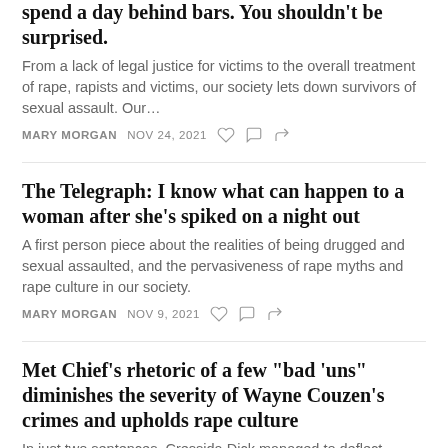spend a day behind bars. You shouldn't be surprised.
From a lack of legal justice for victims to the overall treatment of rape, rapists and victims, our society lets down survivors of sexual assault. Our…
MARY MORGAN   NOV 24, 2021
The Telegraph: I know what can happen to a woman after she's spiked on a night out
A first person piece about the realities of being drugged and sexual assaulted, and the pervasiveness of rape myths and rape culture in our society.
MARY MORGAN   NOV 9, 2021
Met Chief's rhetoric of a few "bad 'uns" diminishes the severity of Wayne Couzen's crimes and upholds rape culture
In just two sentences, Cressida Dick managed to deflect blame, shield herself from responsibility, exonerate a rapist,